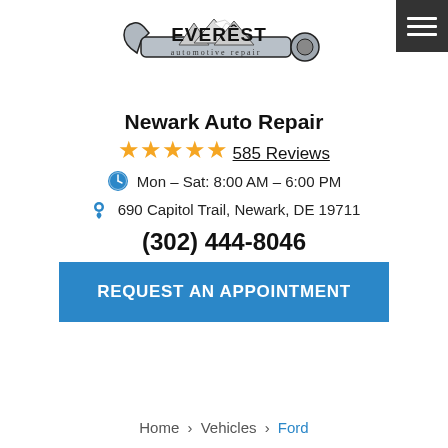[Figure (logo): Everest Automotive Repair logo featuring a wrench with mountain peaks and bold text]
Newark Auto Repair
★★★★★ 585 Reviews
Mon – Sat: 8:00 AM – 6:00 PM
690 Capitol Trail, Newark, DE 19711
(302) 444-8046
REQUEST AN APPOINTMENT
Home > Vehicles > Ford